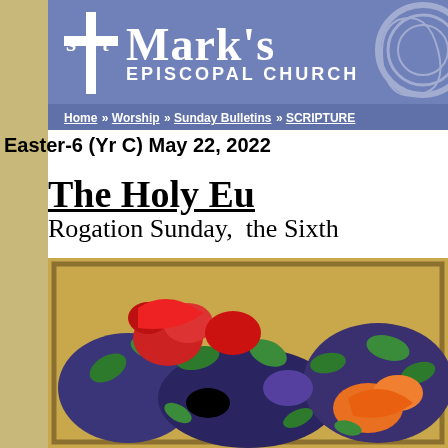[Figure (logo): St. Mark's Episcopal Church header banner with blue/purple background, white cross and church name logo, Celtic knot decoration on right, and navigation breadcrumb at bottom]
Easter-6 (Yr C) May 22, 2022
The Holy Eu[charist]
Rogation Sunday, the Sixth [Sunday of Easter]
[Figure (illustration): Colorful artwork/tapestry showing birds and flowers with red, orange, green, blue and purple colors on a golden/tan background]